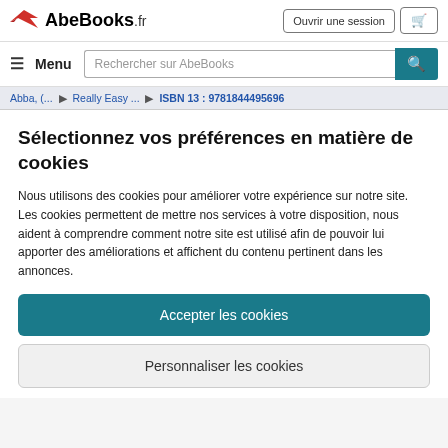AbeBooks.fr — Ouvrir une session
Menu — Rechercher sur AbeBooks
Abba, (... > Really Easy ... > ISBN 13 : 9781844495696
Sélectionnez vos préférences en matière de cookies
Nous utilisons des cookies pour améliorer votre expérience sur notre site. Les cookies permettent de mettre nos services à votre disposition, nous aident à comprendre comment notre site est utilisé afin de pouvoir lui apporter des améliorations et affichent du contenu pertinent dans les annonces.
Accepter les cookies
Personnaliser les cookies